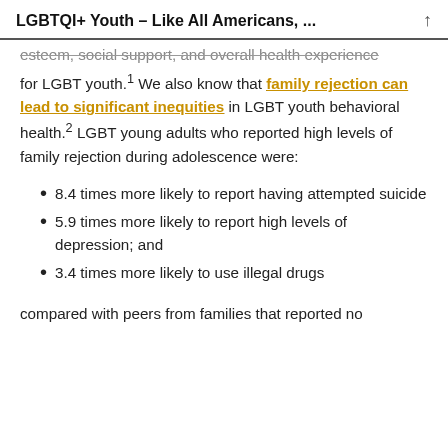LGBTQI+ Youth – Like All Americans, ...
esteem, social support, and overall health experience for LGBT youth.¹ We also know that family rejection can lead to significant inequities in LGBT youth behavioral health.² LGBT young adults who reported high levels of family rejection during adolescence were:
8.4 times more likely to report having attempted suicide
5.9 times more likely to report high levels of depression; and
3.4 times more likely to use illegal drugs
compared with peers from families that reported no